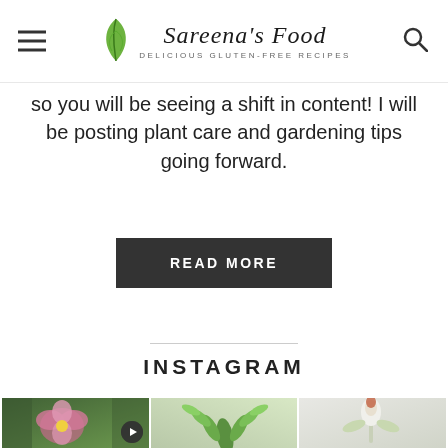Sareena's Food – Delicious Gluten-Free Recipes
so you will be seeing a shift in content! I will be posting plant care and gardening tips going forward.
READ MORE
INSTAGRAM
[Figure (photo): Instagram photo grid showing three plant images: a pink flower, green fern, and a plant bud]
[Figure (photo): Instagram photo 1: pink flower with green background, video play button overlay]
[Figure (photo): Instagram photo 2: green fern/asparagus plant]
[Figure (photo): Instagram photo 3: white/light plant bud with reddish tip]